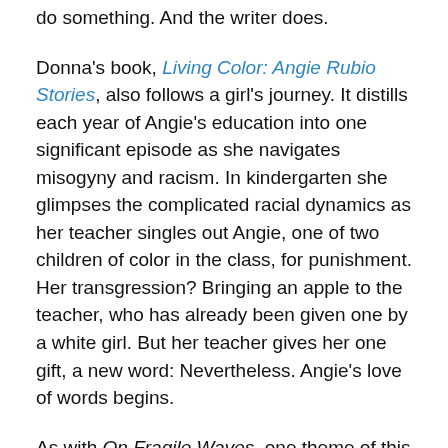do something. And the writer does.
Donna's book, Living Color: Angie Rubio Stories, also follows a girl's journey. It distills each year of Angie's education into one significant episode as she navigates misogyny and racism. In kindergarten she glimpses the complicated racial dynamics as her teacher singles out Angie, one of two children of color in the class, for punishment. Her transgression? Bringing an apple to the teacher, who has already been given one by a white girl. But her teacher gives her one gift, a new word: Nevertheless. Angie's love of words begins.
As with On Fragile Waves, one theme of this book is storytelling and writing. Angie finds increasing power and satisfaction in putting her ideas on paper. By her senior year, she is writing provocative editorials for the student